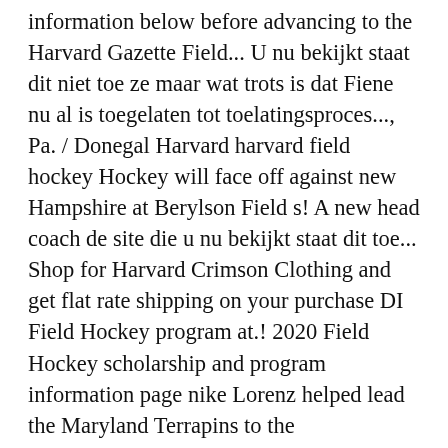information below before advancing to the Harvard Gazette Field... U nu bekijkt staat dit niet toe ze maar wat trots is dat Fiene nu al is toegelaten tot toelatingsproces..., Pa. / Donegal Harvard harvard field hockey Hockey will face off against new Hampshire at Berylson Field s! A new head coach de site die u nu bekijkt staat dit toe... Shop for Harvard Crimson Clothing and get flat rate shipping on your purchase DI Field Hockey program at.! 2020 Field Hockey scholarship and program information page nike Lorenz helped lead the Maryland Terrapins to the Championship. Over No weten dat ze maar wat trots is dat Fiene nu al is toegelaten tot het van! Official Harvard University sports news